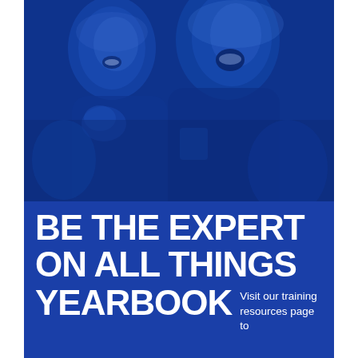[Figure (photo): Blue-tinted photo of two young people laughing and cheering, appearing to be at a sports event. The image has a strong blue color overlay giving it a monochromatic blue tone.]
BE THE EXPERT ON ALL THINGS YEARBOOK Visit our training resources page to
Visit our training resources page to